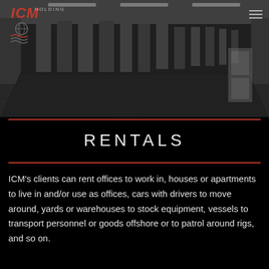[Figure (photo): Dark interior warehouse or parking structure with black asphalt floor receding into background, overhead lighting strips on ceiling, ICM Holding logo in upper left corner with red ICM text and globe icon, hamburger menu icon in upper right]
RENTALS
ICM's clients can rent offices to work in, houses or apartments to live in and/or use as offices, cars with drivers to move around, yards or warehouses to stock equipment, vessels to transport personnel or goods offshore or to patrol around rigs, and so on.